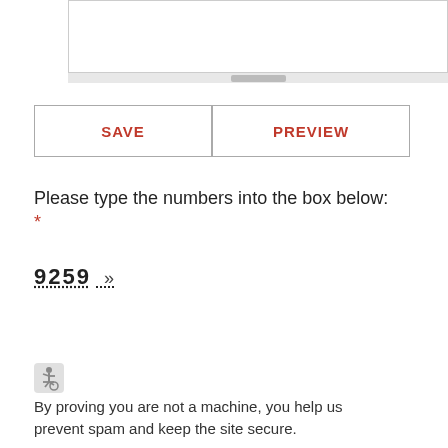[Figure (screenshot): A text area input box (partially visible at top) with a scrollbar at the bottom]
[Figure (screenshot): Two buttons labeled SAVE and PREVIEW in red text with gray borders]
Please type the numbers into the box below: *
9259 »
[Figure (screenshot): An empty text input box for the CAPTCHA number]
[Figure (illustration): Accessibility/wheelchair icon in gray]
By proving you are not a machine, you help us prevent spam and keep the site secure.